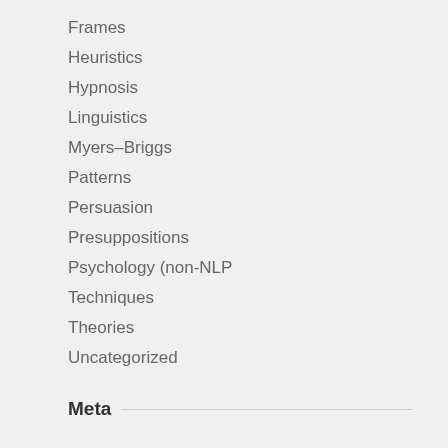Frames
Heuristics
Hypnosis
Linguistics
Myers–Briggs
Patterns
Persuasion
Presuppositions
Psychology (non-NLP
Techniques
Theories
Uncategorized
Meta